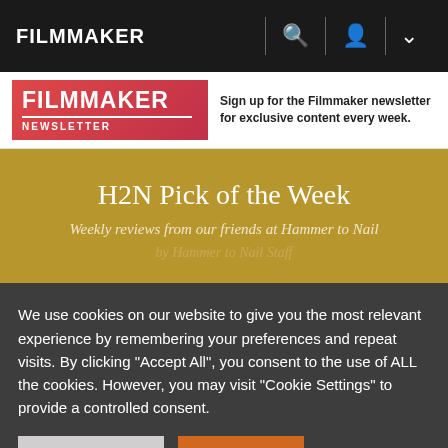FILMMAKER
[Figure (logo): Filmmaker Newsletter banner with red gradient background, FILMMAKER in white bold text, NEWSLETTER in black below, and tagline: Sign up for the Filmmaker newsletter for exclusive content every week.]
H2N Pick of the Week
Weekly reviews from our friends at Hammer to Nail
by Hammer to Nail Staff
We use cookies on our website to give you the most relevant experience by remembering your preferences and repeat visits. By clicking "Accept All", you consent to the use of ALL the cookies. However, you may visit "Cookie Settings" to provide a controlled consent.
Cookie Settings | Accept All